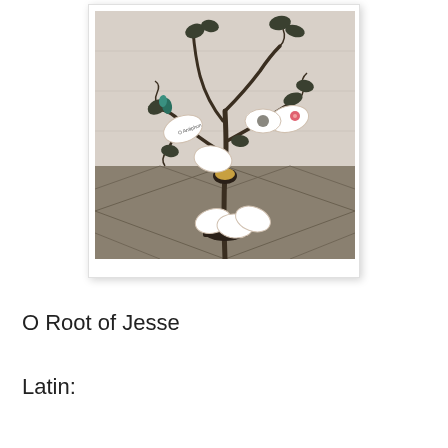[Figure (photo): A decorative metal tree sculpture with ginkgo leaf motifs and swirling branches, holding several white oval ceramic ornaments/tags. The tree sits on a dark base on a marble or tile surface, photographed against a white tiled wall. Some ornaments appear to have text and images on them.]
O Root of Jesse
Latin: